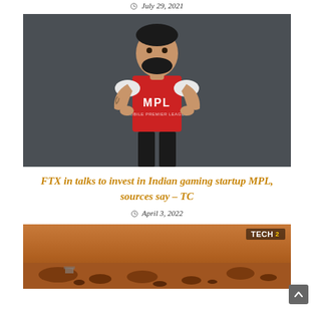July 29, 2021
[Figure (photo): Man wearing a red MPL jersey standing against a dark gray background with hands on hips]
FTX in talks to invest in Indian gaming startup MPL, sources say – TC
April 3, 2022
[Figure (photo): Mars surface landscape with reddish-brown rocky terrain, TECH2 logo watermark in top right corner]